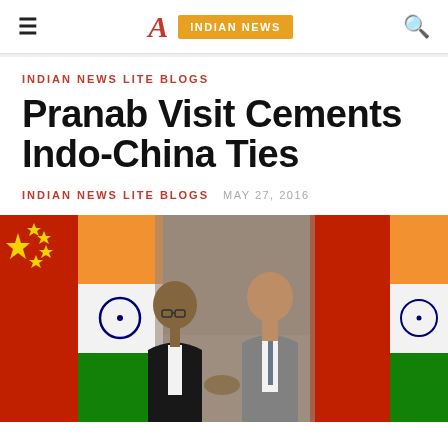≡  A  INDIAN NEWS  🔍
INDIAN NEWS LITE BLOGS
Pranab Visit Cements Indo-China Ties
INDIAN NEWS LITE BLOGS   MAY 27, 2016
[Figure (photo): Two men in formal attire standing and shaking hands in front of Chinese and Indian flags]